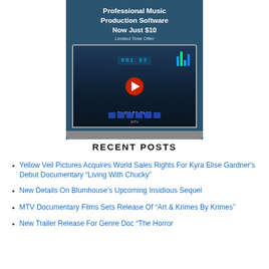[Figure (screenshot): Advertisement banner for Professional Music Production Software showing 'Now Just $10 Limited Time Offer' with a laptop displaying DAW software and a YouTube play button overlay with 'CLICK TO PLAY' text]
RECENT POSTS
Yellow Veil Pictures Acquires World Sales Rights For Kyra Elise Gardner's Debut Documentary “Living With Chucky”
New Details On Blumhouse’s Upcoming Insidious Sequel
MTV Documentary Films Sets Release Of “Art & Krimes By Krimes”
New Trailer Release For Genre Doc “The Horror